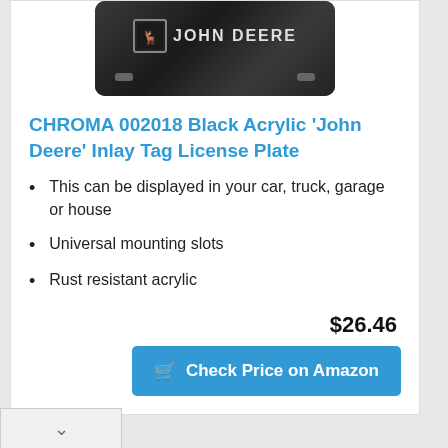[Figure (photo): Black acrylic John Deere license plate with deer logo and text on dark metallic background]
CHROMA 002018 Black Acrylic 'John Deere' Inlay Tag License Plate
This can be displayed in your car, truck, garage or house
Universal mounting slots
Rust resistant acrylic
$26.46
Check Price on Amazon